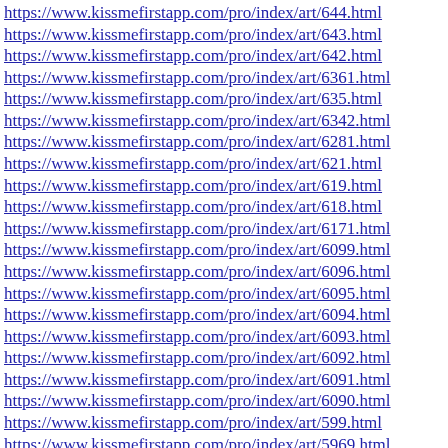https://www.kissmefirstapp.com/pro/index/art/644.html
https://www.kissmefirstapp.com/pro/index/art/643.html
https://www.kissmefirstapp.com/pro/index/art/642.html
https://www.kissmefirstapp.com/pro/index/art/6361.html
https://www.kissmefirstapp.com/pro/index/art/635.html
https://www.kissmefirstapp.com/pro/index/art/6342.html
https://www.kissmefirstapp.com/pro/index/art/6281.html
https://www.kissmefirstapp.com/pro/index/art/621.html
https://www.kissmefirstapp.com/pro/index/art/619.html
https://www.kissmefirstapp.com/pro/index/art/618.html
https://www.kissmefirstapp.com/pro/index/art/6171.html
https://www.kissmefirstapp.com/pro/index/art/6099.html
https://www.kissmefirstapp.com/pro/index/art/6096.html
https://www.kissmefirstapp.com/pro/index/art/6095.html
https://www.kissmefirstapp.com/pro/index/art/6094.html
https://www.kissmefirstapp.com/pro/index/art/6093.html
https://www.kissmefirstapp.com/pro/index/art/6092.html
https://www.kissmefirstapp.com/pro/index/art/6091.html
https://www.kissmefirstapp.com/pro/index/art/6090.html
https://www.kissmefirstapp.com/pro/index/art/599.html
https://www.kissmefirstapp.com/pro/index/art/5969.html
https://www.kissmefirstapp.com/pro/index/art/594.html
https://www.kissmefirstapp.com/pro/index/art/586.html
https://www.kissmefirstapp.com/pro/index/art/584.html
https://www.kissmefirstapp.com/pro/index/art/583.html